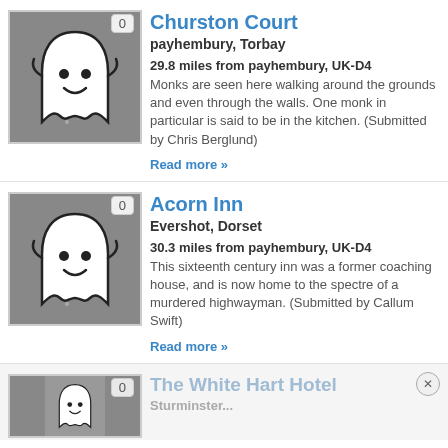[Figure (illustration): Ghost cartoon image with vote badge showing 0 for Churston Court listing]
Churston Court
payhembury, Torbay
29.8 miles from payhembury, UK-D4
Monks are seen here walking around the grounds and even through the walls. One monk in particular is said to be in the kitchen. (Submitted by Chris Berglund)
Read more »
[Figure (illustration): Ghost cartoon image with vote badge showing 0 for Acorn Inn listing]
Acorn Inn
Evershot, Dorset
30.3 miles from payhembury, UK-D4
This sixteenth century inn was a former coaching house, and is now home to the spectre of a murdered highwayman. (Submitted by Callum Swift)
Read more »
[Figure (illustration): Ghost cartoon image with vote badge showing 0 for The White Hart Hotel listing (partially visible)]
The White Hart Hotel